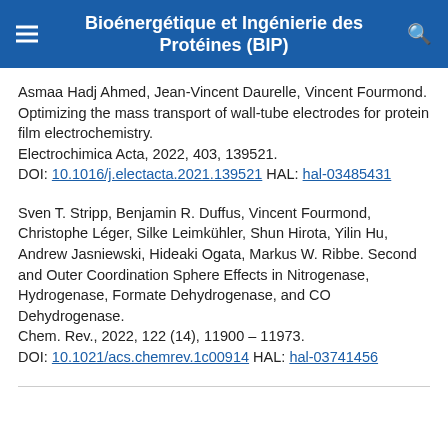Bioénergétique et Ingénierie des Protéines (BIP)
Asmaa Hadj Ahmed, Jean-Vincent Daurelle, Vincent Fourmond. Optimizing the mass transport of wall-tube electrodes for protein film electrochemistry.
Electrochimica Acta, 2022, 403, 139521.
DOI: 10.1016/j.electacta.2021.139521 HAL: hal-03485431
Sven T. Stripp, Benjamin R. Duffus, Vincent Fourmond, Christophe Léger, Silke Leimkühler, Shun Hirota, Yilin Hu, Andrew Jasniewski, Hideaki Ogata, Markus W. Ribbe. Second and Outer Coordination Sphere Effects in Nitrogenase, Hydrogenase, Formate Dehydrogenase, and CO Dehydrogenase.
Chem. Rev., 2022, 122 (14), 11900 – 11973.
DOI: 10.1021/acs.chemrev.1c00914 HAL: hal-03741456